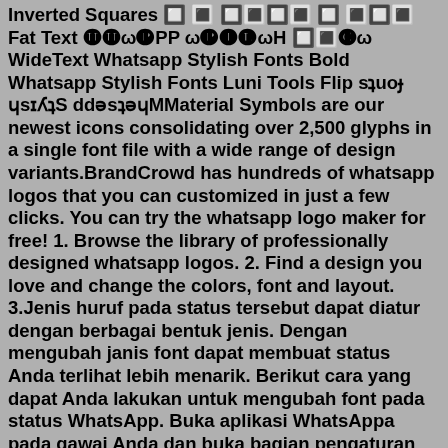Inverted Squares 🔲 🔳 🔲🔳🔲🔳 🔲 🔳🔲🔳 Fat Text 🅗🅗ω🅟PP ω🅟🆈🅛ωH 🔲🔳🅒ω WideText Whatsapp Stylish Fonts Bold Whatsapp Stylish Fonts Luni Tools Flip sʇuoɟ ɥsılʎʇS ddɐsʇɐɥMMaterial Symbols are our newest icons consolidating over 2,500 glyphs in a single font file with a wide range of design variants.BrandCrowd has hundreds of whatsapp logos that you can customized in just a few clicks. You can try the whatsapp logo maker for free! 1. Browse the library of professionally designed whatsapp logos. 2. Find a design you love and change the colors, font and layout. 3.Jenis huruf pada status tersebut dapat diatur dengan berbagai bentuk jenis. Dengan mengubah janis font dapat membuat status Anda terlihat lebih menarik. Berikut cara yang dapat Anda lakukan untuk mengubah font pada status WhatsApp. Buka aplikasi WhatsAppa pada gawai Anda dan buka bagian pengaturan status. (Colase TribunWow.com)کے لیے اینڈرائیڈ کے لیے Stylish Chat Font for WhatsApp apk 1.0 ڈاؤن لوڈ کریں Stylish Fonts fonts for GB whats's Version, UR English Português